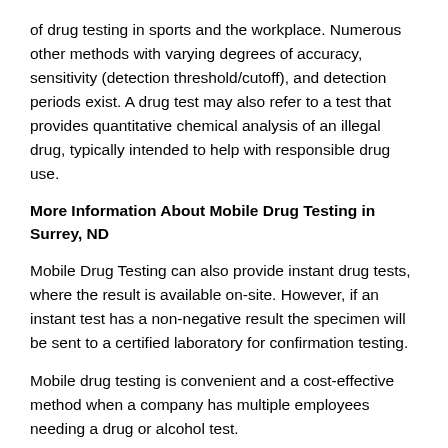of drug testing in sports and the workplace. Numerous other methods with varying degrees of accuracy, sensitivity (detection threshold/cutoff), and detection periods exist. A drug test may also refer to a test that provides quantitative chemical analysis of an illegal drug, typically intended to help with responsible drug use.
More Information About Mobile Drug Testing in Surrey, ND
Mobile Drug Testing can also provide instant drug tests, where the result is available on-site. However, if an instant test has a non-negative result the specimen will be sent to a certified laboratory for confirmation testing.
Mobile drug testing is convenient and a cost-effective method when a company has multiple employees needing a drug or alcohol test.